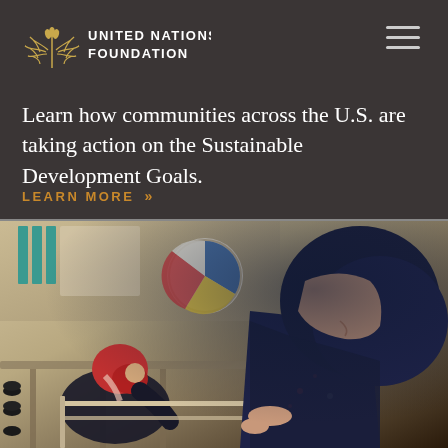[Figure (logo): United Nations Foundation logo with wheat/laurel branch icon and text 'UNITED NATIONS FOUNDATION' in white on dark background]
Learn how communities across the U.S. are taking action on the Sustainable Development Goals.
LEARN MORE »
[Figure (photo): Two women wearing hijabs working at a craft/weaving table in a community workshop setting. The woman in foreground wears a navy blue hijab and floral shirt, looking down at her work. A second woman in background wears a red hijab and dark jacket. Various craft supplies and a circular decorative object visible in the background.]